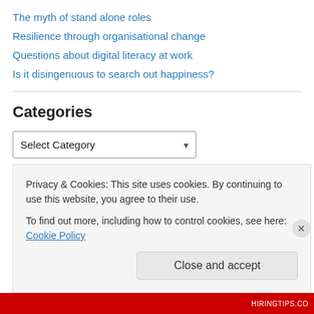The myth of stand alone roles
Resilience through organisational change
Questions about digital literacy at work
Is it disingenuous to search out happiness?
Categories
Select Category
I want to commit myself to you
Like what I'm saying and don't want to miss out? Then sign up...
Privacy & Cookies: This site uses cookies. By continuing to use this website, you agree to their use.
To find out more, including how to control cookies, see here: Cookie Policy
Close and accept